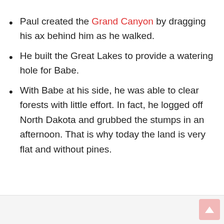Paul created the Grand Canyon by dragging his ax behind him as he walked.
He built the Great Lakes to provide a watering hole for Babe.
With Babe at his side, he was able to clear forests with little effort. In fact, he logged off North Dakota and grubbed the stumps in an afternoon. That is why today the land is very flat and without pines.